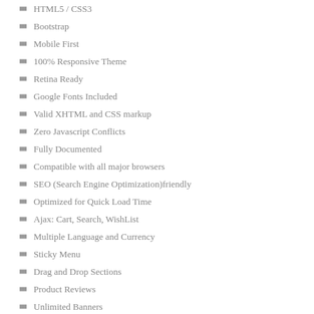HTML5 / CSS3
Bootstrap
Mobile First
100% Responsive Theme
Retina Ready
Google Fonts Included
Valid XHTML and CSS markup
Zero Javascript Conflicts
Fully Documented
Compatible with all major browsers
SEO (Search Engine Optimization)friendly
Optimized for Quick Load Time
Ajax: Cart, Search, WishList
Multiple Language and Currency
Sticky Menu
Drag and Drop Sections
Product Reviews
Unlimited Banners
Products Slider (Featured, New, Special, and Best Seller